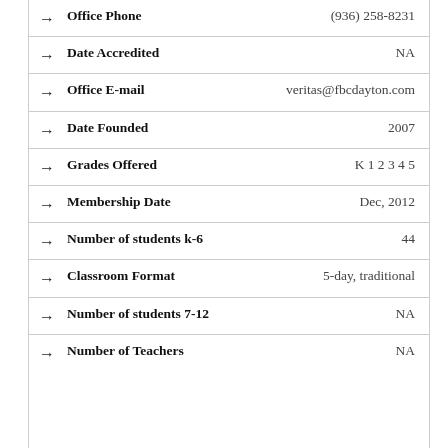| Field | Value |
| --- | --- |
| Office Phone | (936) 258-8231 |
| Date Accredited | NA |
| Office E-mail | veritas@fbcdayton.com |
| Date Founded | 2007 |
| Grades Offered | K 1 2 3 4 5 |
| Membership Date | Dec, 2012 |
| Number of students k-6 | 44 |
| Classroom Format | 5-day, traditional |
| Number of students 7-12 | NA |
| Number of Teachers | NA |